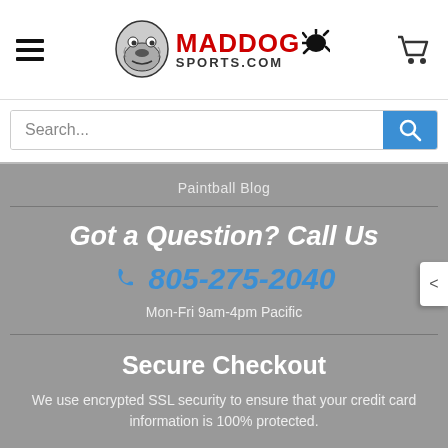[Figure (logo): MadDog Sports.com logo with bulldog mascot and paint splatter]
Search...
Paintball Blog
Got a Question? Call Us
805-275-2040
Mon-Fri 9am-4pm Pacific
Secure Checkout
We use encrypted SSL security to ensure that your credit card information is 100% protected.